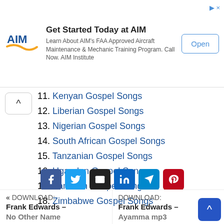[Figure (other): Advertisement banner for AIM Institute: 'Get Started Today at AIM - Learn About AIM's FAA Approved Aircraft Maintenance & Mechanic Training Program. Call Now. AIM Institute' with Open button]
11. Kenyan Gospel Songs
12. Liberian Gospel Songs
13. Nigerian Gospel Songs
14. South African Gospel Songs
15. Tanzanian Gospel Songs
16. Ugandan Gospel Songs
17. Zambian Gospel Songs
18. Zimbabwe Gospel Songs
[Figure (other): Social share buttons: Facebook, Twitter, Email, LinkedIn, Telegram, Pinterest]
« DOWNLOAD: Frank Edwards – No Other Name
DOWNLOAD: Frank Edwards – Ayamma mp3